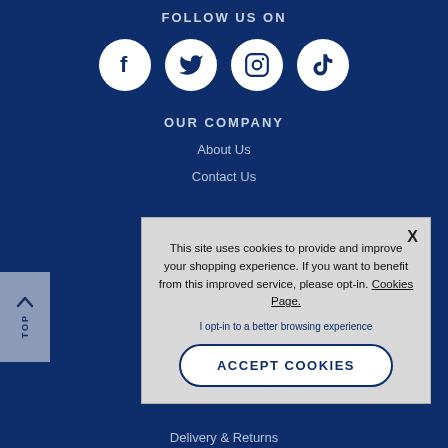FOLLOW US ON
[Figure (illustration): Four circular social media icons on dark blue background: Facebook (f), Twitter (bird), Instagram (camera), TikTok (musical note)]
OUR COMPANY
About Us
Contact Us
[Figure (screenshot): Cookie consent popup with close X button, message about cookies, opt-in link, and ACCEPT COOKIES button]
This site uses cookies to provide and improve your shopping experience. If you want to benefit from this improved service, please opt-in. Cookies Page.
I opt-in to a better browsing experience
ACCEPT COOKIES
Delivery & Returns